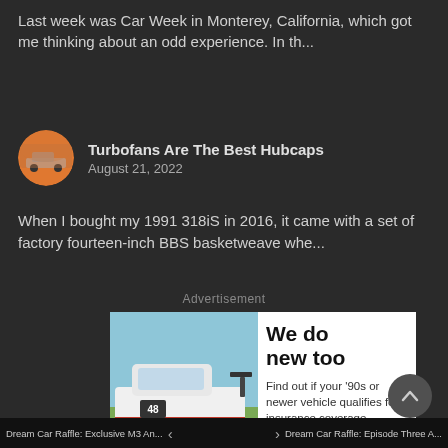Last week was Car Week in Monterey, California, which got me thinking about an odd experience. In th...
Turbofans Are The Best Hubcaps
August 21, 2022
When I bought my 1991 318iS in 2016, it came with a set of factory fourteen-inch BBS basketweave whe...
Advertisement
[Figure (infographic): Hagerty insurance advertisement showing a white BMW race car with #48 and Martini-style stripes, text reading 'We do new too' and 'Find out if your '90s or newer vehicle qualifies for insurance coverage', Hagerty logo at bottom]
Dream Car Raffle: Exclusive M3 An... < > Dream Car Raffle: Episode Three A...